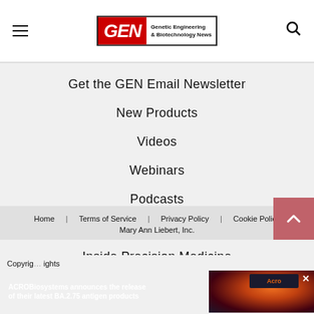GEN – Genetic Engineering & Biotechnology News
Get the GEN Email Newsletter
New Products
Videos
Webinars
Podcasts
Privacy Policy
Inside Precision Medicine
Home | Terms of Service | Privacy Policy | Cookie Policy | Mary Ann Liebert, Inc.
Copyright … rights
[Figure (screenshot): ACROBiosystems advertisement banner: 'ACROBiosystems announces the release of their latest BA.2.75 antigen products' with Acro logo and colorful background image]